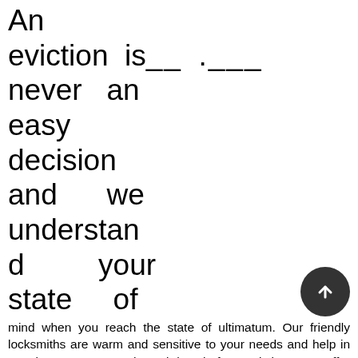An eviction is__ .___ never an easy decision and we understand your state of mind when you reach the state of ultimatum. Our friendly locksmiths are warm and sensitive to your needs and help in carrying out a smooth and hassle-free eviction. We offer services like lock rekeying, new lock installation, high-security locks installation, and implementation of master key systems to help evict unruly tenants from a property.
Emergency services
Most evictions are not planned in advance and must be carried out immediately if the landlords feel threatened by